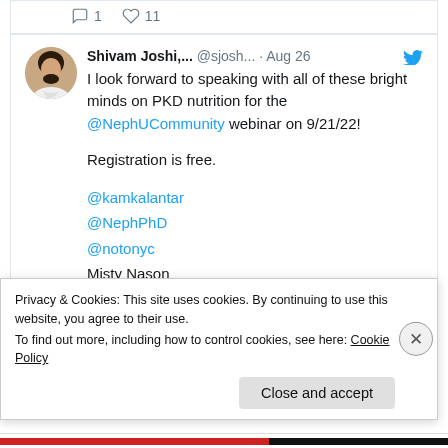[Figure (screenshot): Twitter/social media screenshot showing a tweet by Shivam Joshi about a PKD nutrition webinar with interaction icons (comment:1, like:11) at top, followed by tweet content mentioning @NephUCommunity webinar on 9/21/22, Registration is free, and mentions of @kamkalantar, @NephPhD, @notonyc, and Misty Nason. A partial event card image is visible at bottom.]
Privacy & Cookies: This site uses cookies. By continuing to use this website, you agree to their use.
To find out more, including how to control cookies, see here: Cookie Policy
Close and accept